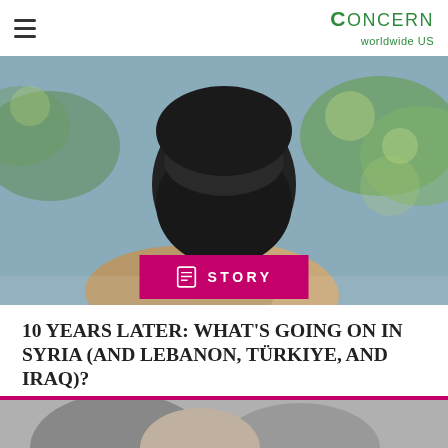Concern Worldwide US
[Figure (photo): A person wearing a black face covering and floral clothing, photographed outdoors with blurred green background]
STORY
10 YEARS LATER: WHAT'S GOING ON IN SYRIA (AND LEBANON, TÜRKIYE, AND IRAQ)?
A decade in, the conflict in Syria continues to have an impact on the lives of millions of people across...